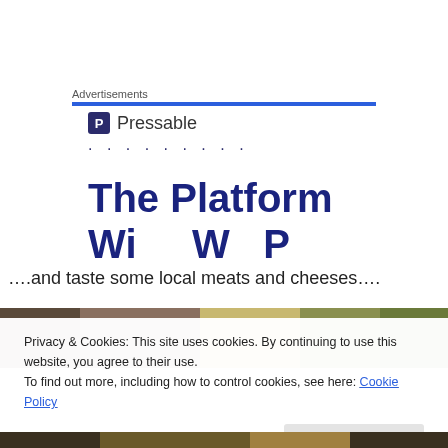Advertisements
[Figure (logo): Pressable logo with blue P icon and dots]
[Figure (advertisement): The Platform ad with bold blue headline text, partially cropped]
….and taste some local meats and cheeses….
[Figure (photo): Photo of local meats and cheeses, partially visible]
Privacy & Cookies: This site uses cookies. By continuing to use this website, you agree to their use.
To find out more, including how to control cookies, see here: Cookie Policy
Close and accept